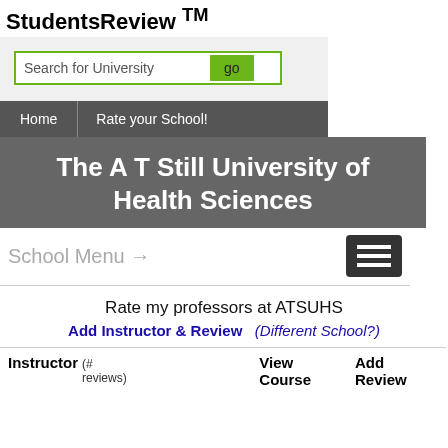StudentsReview ™
[Figure (screenshot): Search bar with text 'Search for University' and a green 'go' button]
Home   Rate your School!
The A T Still University of Health Sciences
School Menu →
Rate my professors at ATSUHS
Add Instructor & Review   (Different School?)
| Instructor (# reviews) |  | View Course | Add Review |
| --- | --- | --- | --- |